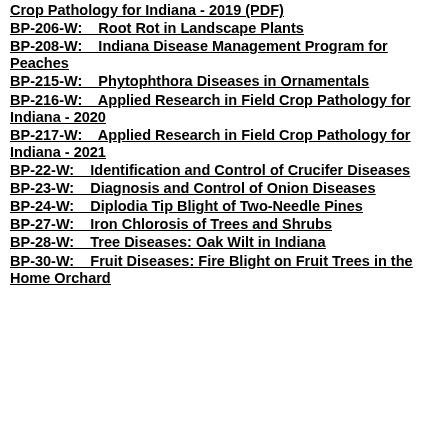Crop Pathology for Indiana - 2019 (PDF)
BP-206-W:    Root Rot in Landscape Plants
BP-208-W:    Indiana Disease Management Program for Peaches
BP-215-W:    Phytophthora Diseases in Ornamentals
BP-216-W:    Applied Research in Field Crop Pathology for Indiana - 2020
BP-217-W:    Applied Research in Field Crop Pathology for Indiana - 2021
BP-22-W:    Identification and Control of Crucifer Diseases
BP-23-W:    Diagnosis and Control of Onion Diseases
BP-24-W:    Diplodia Tip Blight of Two-Needle Pines
BP-27-W:    Iron Chlorosis of Trees and Shrubs
BP-28-W:    Tree Diseases: Oak Wilt in Indiana
BP-30-W:    Fruit Diseases: Fire Blight on Fruit Trees in the Home Orchard